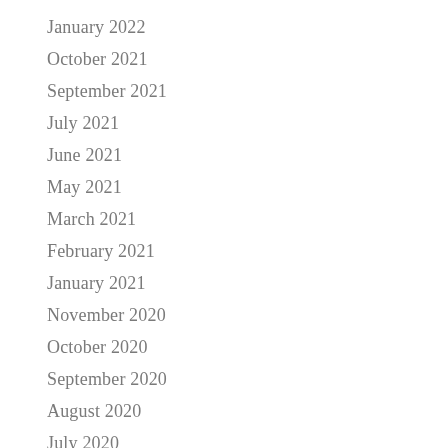January 2022
October 2021
September 2021
July 2021
June 2021
May 2021
March 2021
February 2021
January 2021
November 2020
October 2020
September 2020
August 2020
July 2020
June 2020